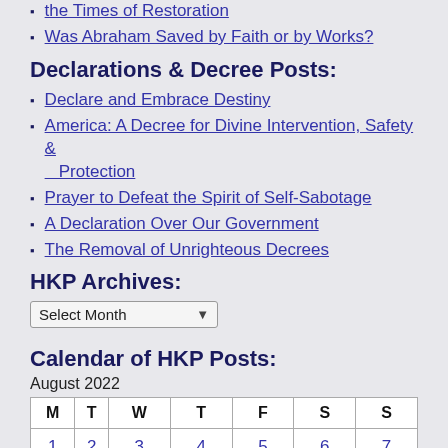the Times of Restoration
Was Abraham Saved by Faith or by Works?
Declarations & Decree Posts:
Declare and Embrace Destiny
America: A Decree for Divine Intervention, Safety & Protection
Prayer to Defeat the Spirit of Self-Sabotage
A Declaration Over Our Government
The Removal of Unrighteous Decrees
HKP Archives:
Select Month
Calendar of HKP Posts:
August 2022
| M | T | W | T | F | S | S |
| --- | --- | --- | --- | --- | --- | --- |
| 1 | 2 | 3 | 4 | 5 | 6 | 7 |
| 8 | 9 | 10 | 11 | 12 | 13 | 14 |